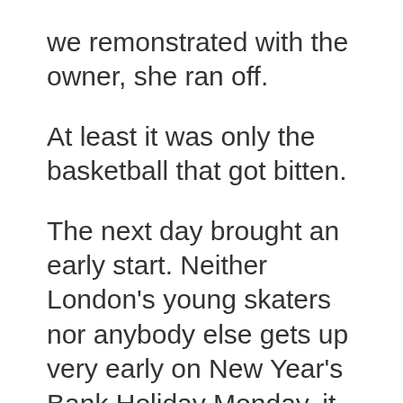we remonstrated with the owner, she ran off.
At least it was only the basketball that got bitten.
The next day brought an early start. Neither London's young skaters nor anybody else gets up very early on New Year's Bank Holiday Monday, it seems. I don't think I've ever seen London streets so empty. The drive in to the Aldwych area for the start of skating at Somerset House felt like driving through a Jerry Cornelius